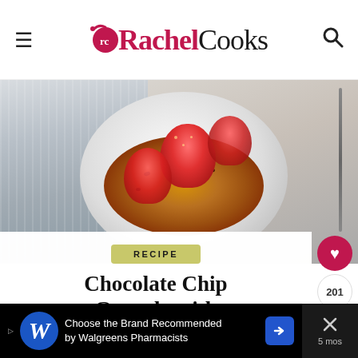Rachel Cooks
[Figure (photo): Bowl of granola topped with strawberries and chocolate chips on a light background with striped fabric]
RECIPE
Chocolate Chip Granola with Strawberries
★★★★★ 5 from 2 votes
201
Choose the Brand Recommended by Walgreens Pharmacists